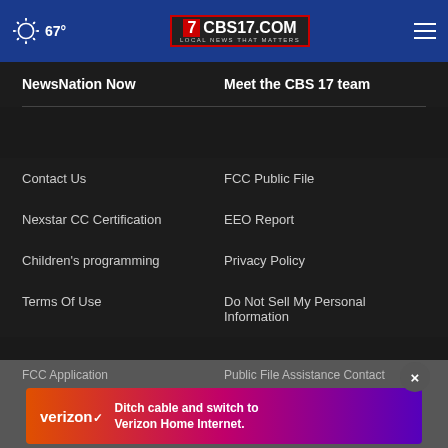67° CBS17.COM LOCAL NEWS THAT MATTERS
NewsNation Now
Meet the CBS 17 team
Contact Us
FCC Public File
Nexstar CC Certification
EEO Report
Children's programming
Privacy Policy
Terms Of Use
Do Not Sell My Personal Information
FCC Application
Public File Assistance Contact
The Hill
[Figure (other): Verizon advertisement banner: Ditch cable and switch to Verizon Home Internet.]